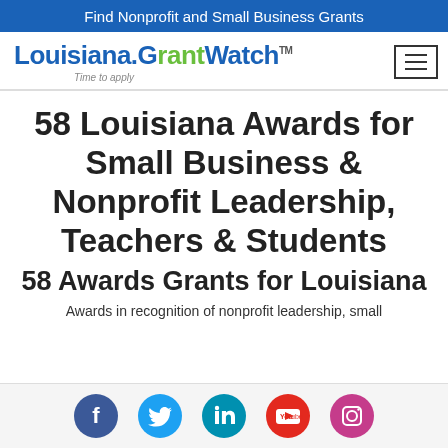Find Nonprofit and Small Business Grants
[Figure (logo): Louisiana.GrantWatch logo with tagline 'Time to apply' and hamburger menu icon]
58 Louisiana Awards for Small Business & Nonprofit Leadership, Teachers & Students
58 Awards Grants for Louisiana
Awards in recognition of nonprofit leadership, small
[Figure (other): Social media icons: Facebook, Twitter, LinkedIn, YouTube, Instagram]